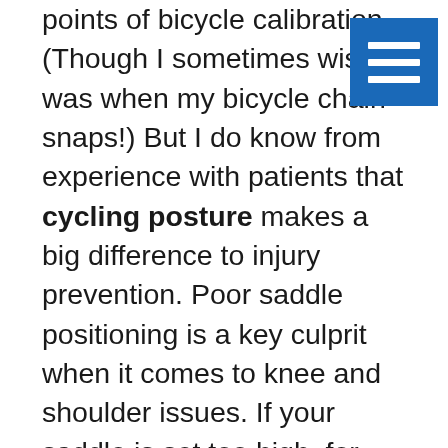points of bicycle calibration. (Though I sometimes wish I was when my bicycle chain snaps!) But I do know from experience with patients that cycling posture makes a big difference to injury prevention. Poor saddle positioning is a key culprit when it comes to knee and shoulder issues. If your saddle is set too high, for example, your body will be hunched towards the handlebars, throwing your bodyweight further forward across the bike. This could predispose you to a shoulder problem, such as an impingement. Similarly, incorrect cleat positioning on the pedals may also cause knee problems. Pain on the medial (inner) side of the knee could indicate damage to the cartilage or meniscus, for example, and badly